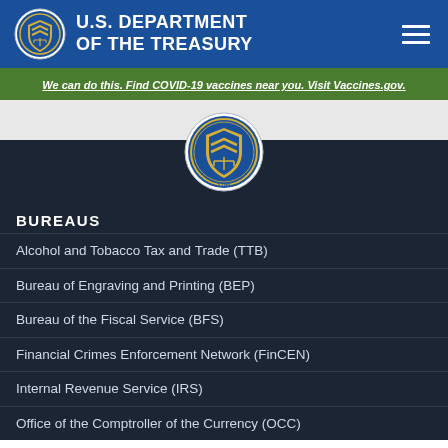U.S. DEPARTMENT OF THE TREASURY
We can do this. Find COVID-19 vaccines near you. Visit Vaccines.gov.
[Figure (logo): U.S. Department of the Treasury seal — circular emblem with blue and gold design]
BUREAUS
Alcohol and Tobacco Tax and Trade (TTB)
Bureau of Engraving and Printing (BEP)
Bureau of the Fiscal Service (BFS)
Financial Crimes Enforcement Network (FinCEN)
Internal Revenue Service (IRS)
Office of the Comptroller of the Currency (OCC)